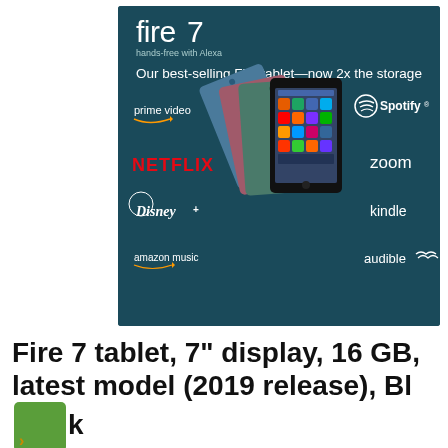[Figure (photo): Amazon Fire 7 tablet advertisement showing the product with app logos (Prime Video, Netflix, Disney+, Amazon Music, Spotify, Zoom, Kindle, Audible) and multiple tablet colors (blue, rose, sage green, black) on a dark teal background. Headline reads: fire 7 hands-free with Alexa, Our best-selling Fire tablet—now 2x the storage.]
Fire 7 tablet, 7" display, 16 GB, latest model (2019 release), Black